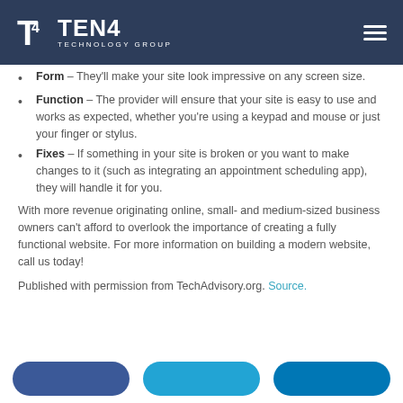TEN4 TECHNOLOGY GROUP
Form – They'll make your site look impressive on any screen size.
Function – The provider will ensure that your site is easy to use and works as expected, whether you're using a keypad and mouse or just your finger or stylus.
Fixes – If something in your site is broken or you want to make changes to it (such as integrating an appointment scheduling app), they will handle it for you.
With more revenue originating online, small- and medium-sized business owners can't afford to overlook the importance of creating a fully functional website. For more information on building a modern website, call us today!
Published with permission from TechAdvisory.org. Source.